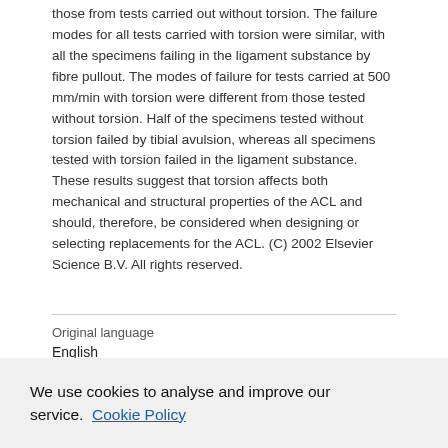those from tests carried out without torsion. The failure modes for all tests carried with torsion were similar, with all the specimens failing in the ligament substance by fibre pullout. The modes of failure for tests carried at 500 mm/min with torsion were different from those tested without torsion. Half of the specimens tested without torsion failed by tibial avulsion, whereas all specimens tested with torsion failed in the ligament substance. These results suggest that torsion affects both mechanical and structural properties of the ACL and should, therefore, be considered when designing or selecting replacements for the ACL. (C) 2002 Elsevier Science B.V. All rights reserved.
| Original language |
| --- |
| English |
We use cookies to analyse and improve our service. Cookie Policy